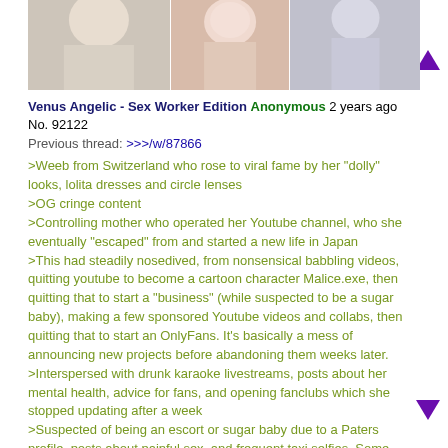[Figure (photo): Three images side by side showing women/people, partially cropped at top]
Venus Angelic - Sex Worker Edition Anonymous 2 years ago No. 92122
Previous thread: >>>/w/87866
>Weeb from Switzerland who rose to viral fame by her "dolly" looks, lolita dresses and circle lenses
>OG cringe content
>Controlling mother who operated her Youtube channel, who she eventually "escaped" from and started a new life in Japan
>This had steadily nosedived, from nonsensical babbling videos, quitting youtube to become a cartoon character Malice.exe, then quitting that to start a "business" (while suspected to be a sugar baby), making a few sponsored Youtube videos and collabs, then quitting that to start an OnlyFans. It's basically a mess of announcing new projects before abandoning them weeks later.
>Interspersed with drunk karaoke livestreams, posts about her mental health, advice for fans, and opening fanclubs which she stopped updating after a week
>Suspected of being an escort or sugar baby due to a Paters profile, posts about painful sex, and frequent taxi selfies. Some sugar daddies include mysterious "managers" like the infamous Ken (pic related)
>Casual Manaki slandering posted on Instagram, including implying he was a pervert and or had threesomes with crossdressers
>Now divorced, or maybe still living with him, nobody knows
>Takes pictures and video in kawaii broom cupboards, and reposts old photos so nobody is sure where she resides
>A popular pro-Venus sympathetic Youtube video garnered her many new fans, due to only focusing on the Margo escape story and glossing over all